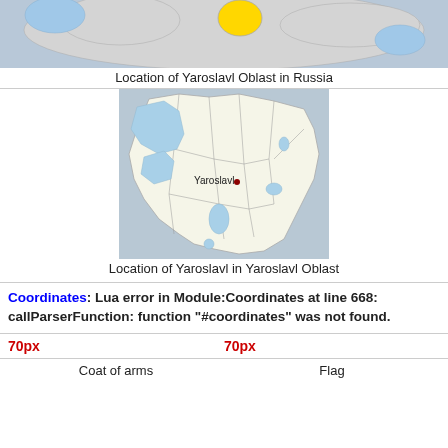[Figure (map): Map showing location of Yaroslavl Oblast in Russia, partial view at top of page]
Location of Yaroslavl Oblast in Russia
[Figure (map): Detailed map showing location of Yaroslavl city within Yaroslavl Oblast, with district boundaries, lakes and rivers in blue, and a red dot marking Yaroslavl city]
Location of Yaroslavl in Yaroslavl Oblast
Coordinates: Lua error in Module:Coordinates at line 668: callParserFunction: function "#coordinates" was not found.
70px   70px
Coat of arms   Flag